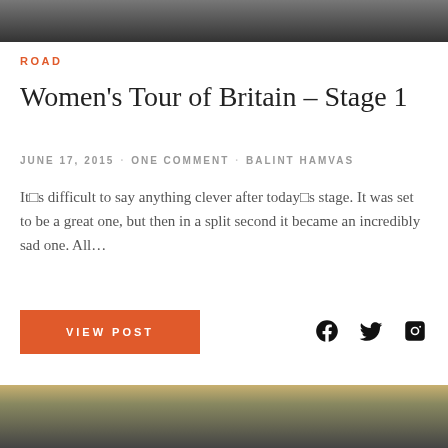[Figure (photo): Top partial image of cyclists racing on a road, cropped at top of page]
ROAD
Women's Tour of Britain – Stage 1
JUNE 17, 2015 · ONE COMMENT · BALINT HAMVAS
It's difficult to say anything clever after today's stage. It was set to be a great one, but then in a split second it became an incredibly sad one. All…
VIEW POST
[Figure (photo): Bottom partial image of a crowd gathered at a cycling event venue with yellow banners]